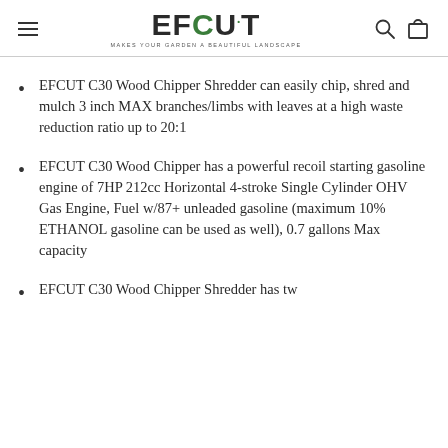EFCUT — MAKES YOUR GARDEN A BEAUTIFUL LANDSCAPE
EFCUT C30 Wood Chipper Shredder can easily chip, shred and mulch 3 inch MAX branches/limbs with leaves at a high waste reduction ratio up to 20:1
EFCUT C30 Wood Chipper has a powerful recoil starting gasoline engine of 7HP 212cc Horizontal 4-stroke Single Cylinder OHV Gas Engine, Fuel w/87+ unleaded gasoline (maximum 10% ETHANOL gasoline can be used as well), 0.7 gallons Max capacity
EFCUT C30 Wood Chipper Shredder has tw...